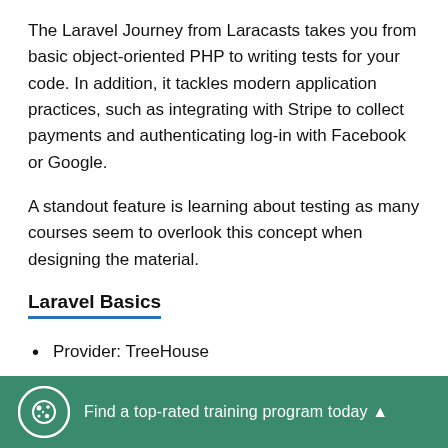The Laravel Journey from Laracasts takes you from basic object-oriented PHP to writing tests for your code. In addition, it tackles modern application practices, such as integrating with Stripe to collect payments and authenticating log-in with Facebook or Google.
A standout feature is learning about testing as many courses seem to overlook this concept when designing the material.
Laravel Basics
Provider: TreeHouse
[Figure (infographic): Green banner at bottom of page with a cookie/settings icon in a circle on the left, and text 'Find a top-rated training program today ▲' in white.]